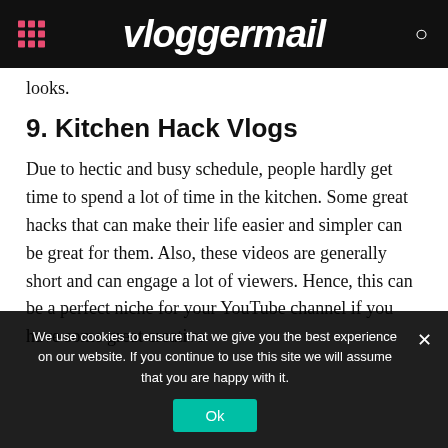vloggermail
looks.
9.  Kitchen Hack Vlogs
Due to hectic and busy schedule, people hardly get time to spend a lot of time in the kitchen. Some great hacks that can make their life easier and simpler can be great for them. Also, these videos are generally short and can engage a lot of viewers. Hence, this can be a perfect niche for your YouTube channel if you have some great creative
We use cookies to ensure that we give you the best experience on our website. If you continue to use this site we will assume that you are happy with it.